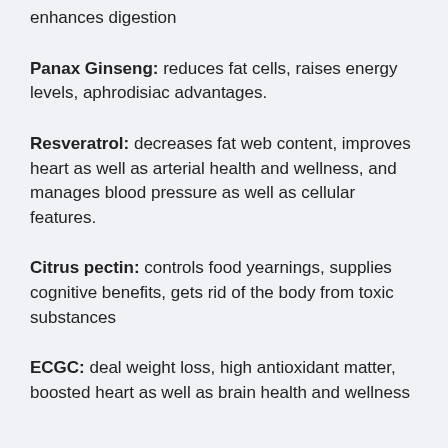enhances digestion
Panax Ginseng: reduces fat cells, raises energy levels, aphrodisiac advantages.
Resveratrol: decreases fat web content, improves heart as well as arterial health and wellness, and manages blood pressure as well as cellular features.
Citrus pectin: controls food yearnings, supplies cognitive benefits, gets rid of the body from toxic substances
ECGC: deal weight loss, high antioxidant matter, boosted heart as well as brain health and wellness